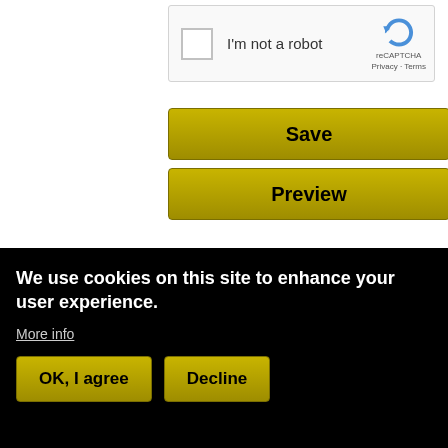[Figure (other): reCAPTCHA widget with checkbox 'I'm not a robot' and reCAPTCHA logo with Privacy and Terms links]
Save
Preview
Subscribe to our feed
[Figure (logo): Orange RSS feed icon]
We use cookies on this site to enhance your user experience.
More info
OK, I agree
Decline